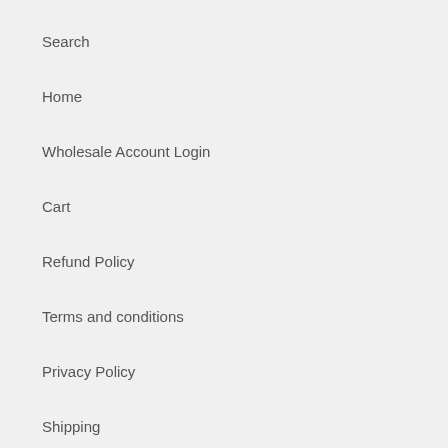Search
Home
Wholesale Account Login
Cart
Refund Policy
Terms and conditions
Privacy Policy
Shipping